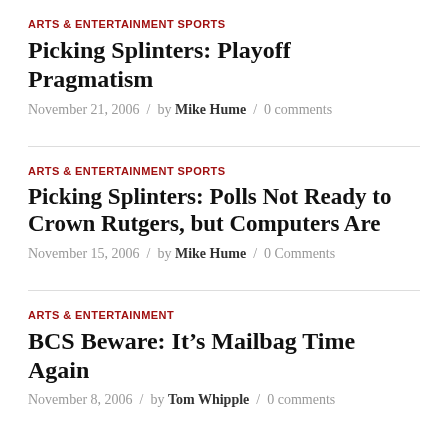ARTS & ENTERTAINMENT SPORTS
Picking Splinters: Playoff Pragmatism
November 21, 2006 / by Mike Hume / 0 comments
ARTS & ENTERTAINMENT SPORTS
Picking Splinters: Polls Not Ready to Crown Rutgers, but Computers Are
November 15, 2006 / by Mike Hume / 0 Comments
ARTS & ENTERTAINMENT
BCS Beware: It’s Mailbag Time Again
November 8, 2006 / by Tom Whipple / 0 comments